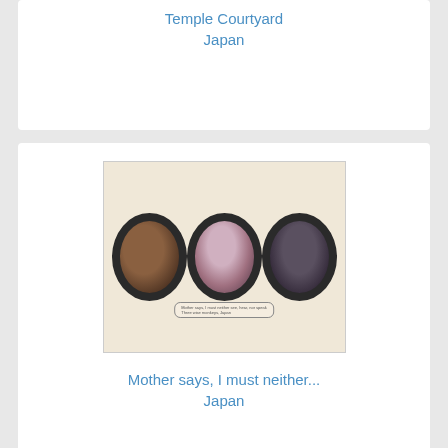Temple Courtyard
Japan
[Figure (photo): Three circular/oval framed portrait photographs of Japanese women arranged side by side on a cream-colored card. Each oval frame is dark and shows a woman in traditional Japanese dress. A small caption banner appears beneath the central image.]
Mother says, I must neither...
Japan